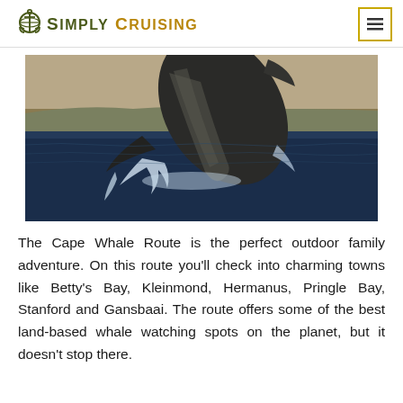Simply Cruising
[Figure (photo): A humpback whale breaching dramatically out of dark blue ocean water, with land visible in the background.]
The Cape Whale Route is the perfect outdoor family adventure. On this route you'll check into charming towns like Betty's Bay, Kleinmond, Hermanus, Pringle Bay, Stanford and Gansbaai. The route offers some of the best land-based whale watching spots on the planet, but it doesn't stop there.